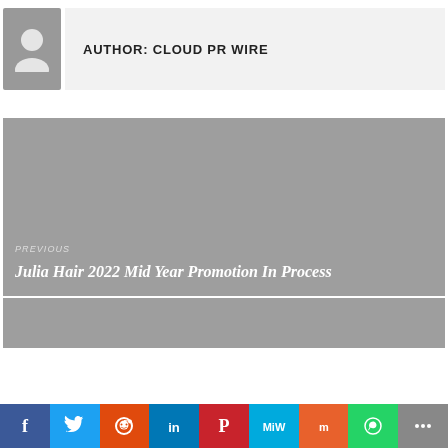[Figure (illustration): Author avatar placeholder - grey box with white person silhouette icon]
AUTHOR: CLOUD PR WIRE
[Figure (illustration): Previous post navigation block with grey background. Label: PREVIOUS. Title: Julia Hair 2022 Mid Year Promotion In Process]
PREVIOUS
Julia Hair 2022 Mid Year Promotion In Process
[Figure (illustration): Social sharing bar with icons: Facebook, Twitter, Reddit, LinkedIn, Pinterest, MixW, Mix, WhatsApp, More]